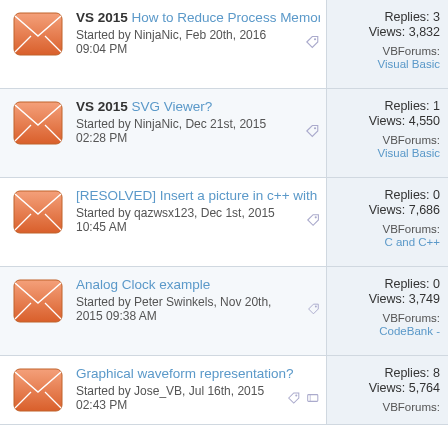VS 2015 How to Reduce Process Memory? Started by NinjaNic, Feb 20th, 2016 09:04 PM | Replies: 3 Views: 3,832 | VBForums: Visual Basic
VS 2015 SVG Viewer? Started by NinjaNic, Dec 21st, 2015 02:28 PM | Replies: 1 Views: 4,550 | VBForums: Visual Basic
[RESOLVED] Insert a picture in c++ with graphics. Started by qazwsx123, Dec 1st, 2015 10:45 AM | Replies: 0 Views: 7,686 | VBForums: C and C++
Analog Clock example Started by Peter Swinkels, Nov 20th, 2015 09:38 AM | Replies: 0 Views: 3,749 | VBForums: CodeBank -
Graphical waveform representation? Started by Jose_VB, Jul 16th, 2015 02:43 PM | Replies: 8 Views: 5,764 | VBForums: